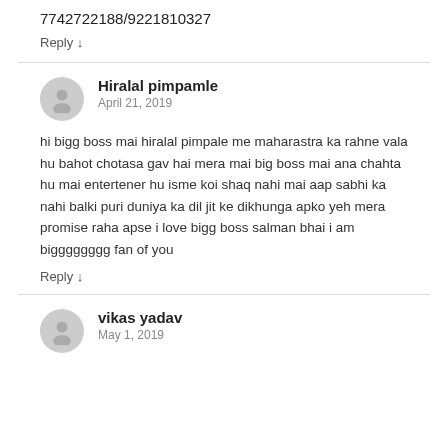7742722188/9221810327
Reply ↓
Hiralal pimpamle
April 21, 2019
hi bigg boss mai hiralal pimpale me maharastra ka rahne vala hu bahot chotasa gav hai mera mai big boss mai ana chahta hu mai entertener hu isme koi shaq nahi mai aap sabhi ka nahi balki puri duniya ka dil jit ke dikhunga apko yeh mera promise raha apse i love bigg boss salman bhai i am bigggggggg fan of you
Reply ↓
vikas yadav
May 1, 2019